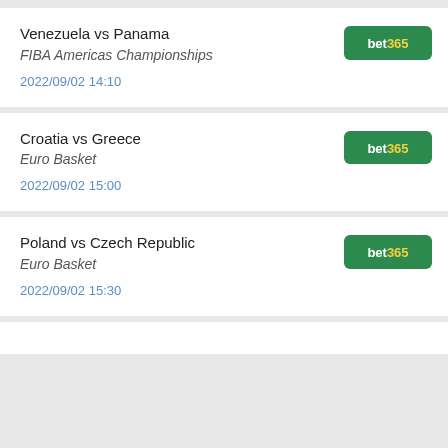Venezuela vs Panama
FIBA Americas Championships
2022/09/02 14:10
Croatia vs Greece
Euro Basket
2022/09/02 15:00
Poland vs Czech Republic
Euro Basket
2022/09/02 15:30